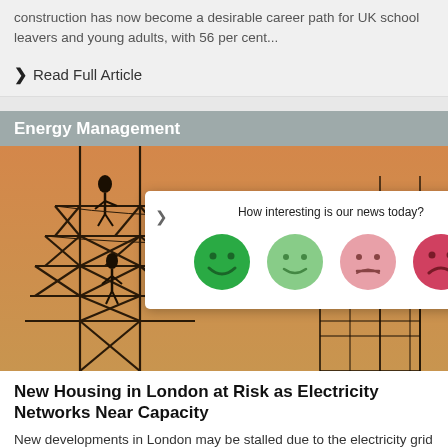construction has now become a desirable career path for UK school leavers and young adults, with 56 per cent...
❯ Read Full Article
Energy Management
[Figure (photo): Silhouette of power transmission towers with workers climbing, against a warm orange/amber sky. A feedback popup overlay shows 'How interesting is our news today?' with four emoji faces ranging from very happy (dark green) to sad (red).]
New Housing in London at Risk as Electricity Networks Near Capacity
New developments in London may be stalled due to the electricity grid running out of capacity. According to a letter seen by the Financial Times, The Greater London